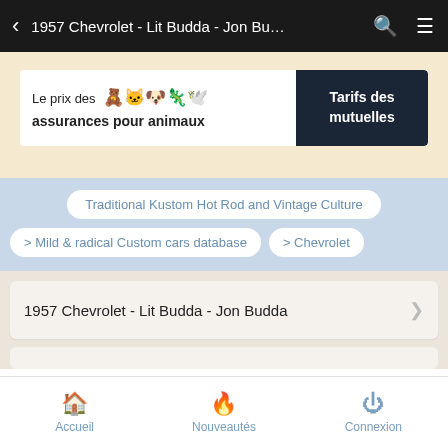< 1957 Chevrolet - Lit Budda - Jon Bu… 🔍 ☰
[Figure (infographic): Advertisement banner: 'Le prix des assurances pour animaux' with animal emoji icons and a dark button 'Tarifs des mutuelles']
Traditional Kustom Hot Rod and Vintage Culture
> Mild & radical Custom cars database
> Chevrolet
1957 Chevrolet - Lit Budda - Jon Budda
Accueil   Nouveautés   Connexion